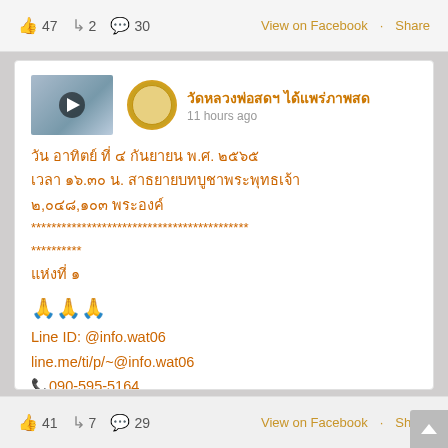👍 47  ↪ 2  💬 30   View on Facebook · Share
[Figure (screenshot): Facebook post from วัดหลวงพ่อสดฯ ได้แพร่ภาพสด, 11 hours ago, containing Thai text about Buddhist ceremony with contact info]
วัดหลวงพ่อสดฯ ได้แพร่ภาพสด
11 hours ago

วัน อาทิตย์ ที่ ๔ กันยายน พ.ศ. ๒๕๖๕
เวลา ๑๖.๓๐ น. สาธยายบทบูชาพระพุทธเจ้า
๒,๐๔๘,๑๐๓ พระองค์
*************************************
**********
แห่งที่ ๑

🙏🙏🙏
Line ID: @info.wat06
line.me/ti/p/~@info.wat06
📞090-595-5164
👍 41  ↪ 7  💬 29   View on Facebook · Share